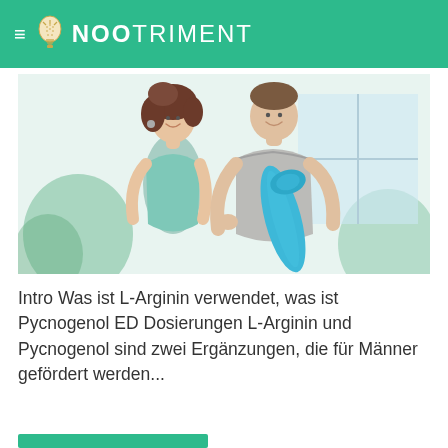≡ NOOTRIMENT
[Figure (photo): A smiling woman in a light teal workout top and a smiling man in a grey t-shirt holding a rolled blue yoga mat, standing together in a bright gym or fitness studio setting.]
Intro Was ist L-Arginin verwendet, was ist Pycnogenol ED Dosierungen L-Arginin und Pycnogenol sind zwei Ergänzungen, die für Männer gefördert werden...